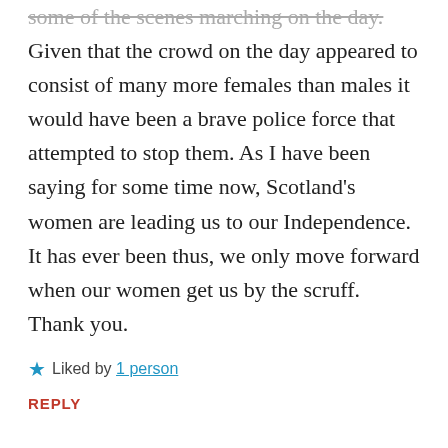some of the scenes marching on the day. Given that the crowd on the day appeared to consist of many more females than males it would have been a brave police force that attempted to stop them. As I have been saying for some time now, Scotland's women are leading us to our Independence. It has ever been thus, we only move forward when our women get us by the scruff. Thank you.
Liked by 1 person
REPLY